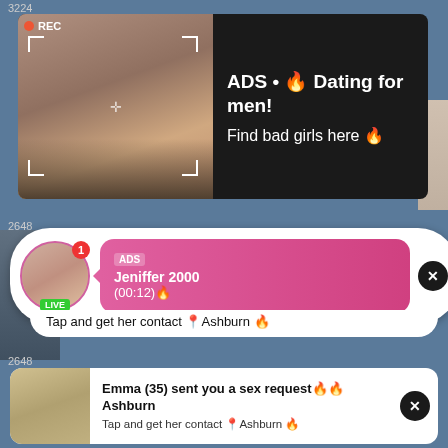3224
[Figure (screenshot): Ad block with woman selfie photo (REC badge, camera frame overlay) and dark background text panel]
ADS • 🔥 Dating for men! Find bad girls here 🔥
2648
[Figure (screenshot): Notification-style ad with circular avatar (LIVE badge, red 1 notification dot), pink gradient bubble with ADS label, Jeniffer 2000 (00:12) text]
ADS Jeniffer 2000 (00:12)🔥
Tap and get her contact 📍Ashburn 🔥
[Figure (screenshot): White card ad with blonde woman photo, Emma sex request notification text, close X button]
Emma (35) sent you a sex request🔥🔥Ashburn
Tap and get her contact 📍Ashburn 🔥